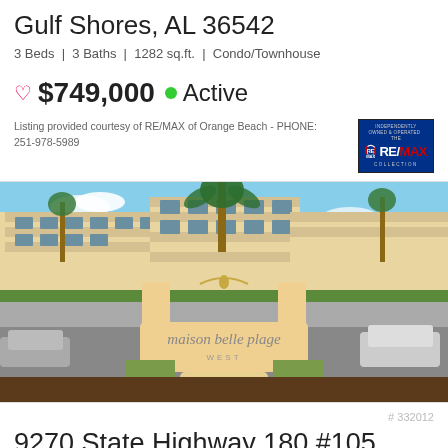Gulf Shores, AL 36542
3 Beds | 3 Baths | 1282 sq.ft. | Condo/Townhouse
$749,000 Active
Listing provided courtesy of RE/MAX of Orange Beach - PHONE: 251-978-5989
[Figure (photo): Exterior photo of Maison Belle Plage West condominium complex with entrance sign]
# 332012
9270 State Highway 180 #105